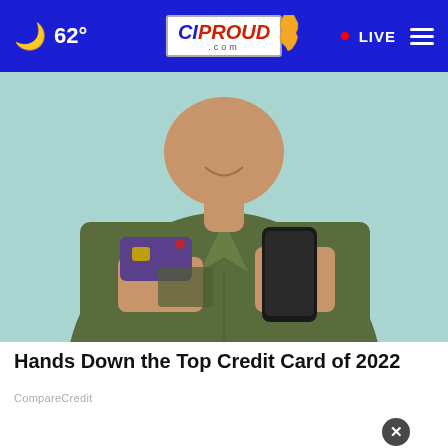62° CIPROUD.com • LIVE
[Figure (photo): Man in olive green shirt holding a purple credit card in one hand and a black smartphone in the other, standing against a light teal background, smiling]
Hands Down the Top Credit Card of 2022
CompareCredit
[Figure (photo): Two people in white shirts bending over in a snowy outdoor setting, with a dark circular close button (X) on the right side]